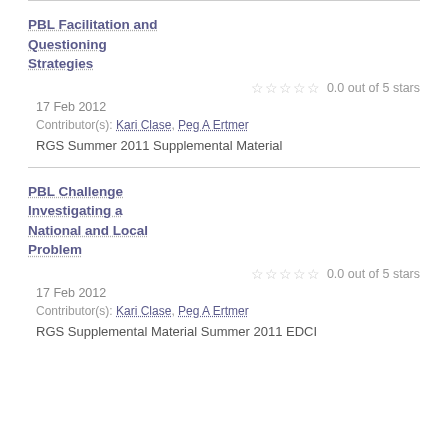PBL Facilitation and Questioning Strategies
0.0 out of 5 stars
17 Feb 2012
Contributor(s): Kari Clase, Peg A Ertmer
RGS Summer 2011 Supplemental Material
PBL Challenge Investigating a National and Local Problem
0.0 out of 5 stars
17 Feb 2012
Contributor(s): Kari Clase, Peg A Ertmer
RGS Supplemental Material Summer 2011 EDCI